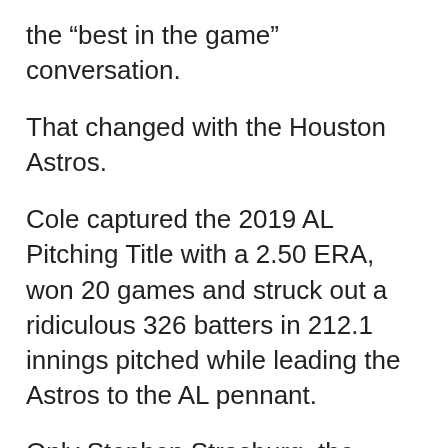the “best in the game” conversation.
That changed with the Houston Astros.
Cole captured the 2019 AL Pitching Title with a 2.50 ERA, won 20 games and struck out a ridiculous 326 batters in 212.1 innings pitched while leading the Astros to the AL pennant.
Only Stephen Strasburg, the Washington Nationals and a Game 7 separated the Astros from their second title in three years and Cole from his first ring.
Of course, Cole helped his club knock off his new team, the Yankees, in the 2019 ALCS. The overwhelming thought that starting pitching is what